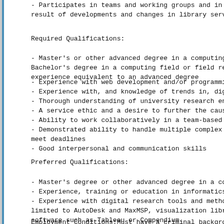- Participates in teams and working groups and in var- result of developments and changes in library services
Required Qualifications:
- Master's or other advanced degree in a computing fie- Bachelor's degree in a computing field or field relate- experience equivalent to an advanced degree
- Experience with web development and/or programming
- Experience with, and knowledge of trends in, digital
- Thorough understanding of university research enviro
- A service ethic and a desire to further the cause o
- Ability to work collaboratively in a team-based env:
- Demonstrated ability to handle multiple complex proj- meet deadlines
- Good interpersonal and communication skills
Preferred Qualifications:
- Master's degree or other advanced degree in a comput
- Experience, training or education in informatics, da
- Experience with digital research tools and methods i- limited to AutoDesk and MaxMSP, visualization librarie- software such as Tableau or Compendium.
- Experience supporting interdisciplinary research pro
- Demonstrated commitment to collaboration and sharing
Employment Conditions:Must have a criminal background